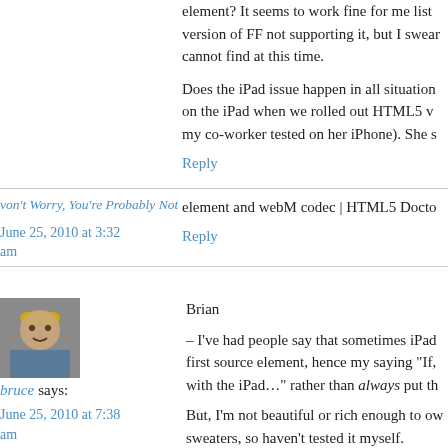element? It seems to work fine for me list version of FF not supporting it, but I swear cannot find at this time.
Does the iPad issue happen in all situation on the iPad when we rolled out HTML5 v my co-worker tested on her iPhone). She s
Reply
von't Worry, You're Probably Not Comic Sans | Gadget Public Infor
June 25, 2010 at 3:32 am
element and webM codec | HTML5 Docto
Reply
bruce says:
June 25, 2010 at 7:38 am
Brian
– I've had people say that sometimes iPad first source element, hence my saying "If, with the iPad…" rather than always put th
But, I'm not beautiful or rich enough to ow sweaters, so haven't tested it myself.